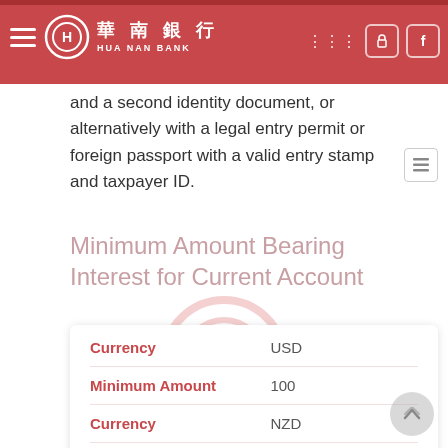Hua Nan Bank
and a second identity document, or alternatively with a legal entry permit or foreign passport with a valid entry stamp and taxpayer ID.
Minimum Amount Bearing Interest for Current Account
| Currency | Minimum Amount |
| --- | --- |
| USD | 100 |
| NZD | 100 |